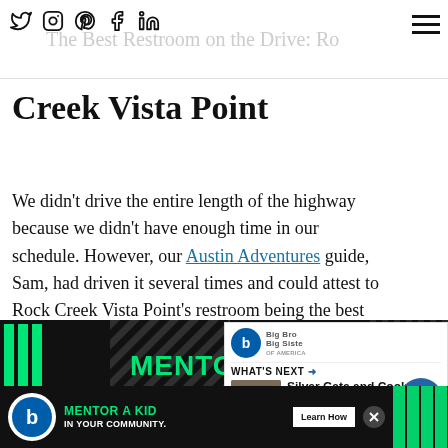The Best Restroom on the Drive: Rock Creek Vista Point
Creek Vista Point
We didn't drive the entire length of the highway because we didn't have enough time in our schedule. However, our Austin Adventures guide, Sam, had driven it several times and could attest to Rock Creek Vista Point's restroom being the best along the length of … (almost 69) miles.
[Figure (advertisement): Big Brothers Big Sisters 'Mentor a Kid' advertisement with green text on black background]
[Figure (infographic): What's Next panel showing Silver Gate and Cooke... with thumbnail image]
[Figure (advertisement): Bottom banner ad: Big Brothers Big Sisters - Mentor a Kid In Your Community with Learn How button]